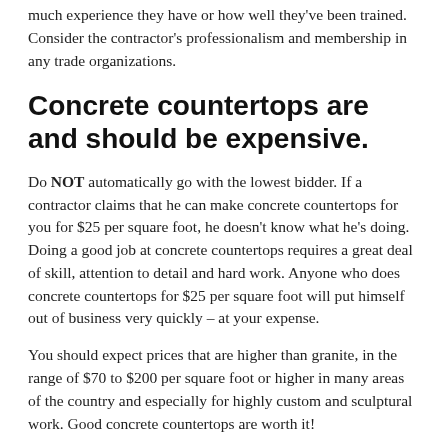much experience they have or how well they've been trained. Consider the contractor's professionalism and membership in any trade organizations.
Concrete countertops are and should be expensive.
Do NOT automatically go with the lowest bidder. If a contractor claims that he can make concrete countertops for you for $25 per square foot, he doesn't know what he's doing. Doing a good job at concrete countertops requires a great deal of skill, attention to detail and hard work. Anyone who does concrete countertops for $25 per square foot will put himself out of business very quickly – at your expense.
You should expect prices that are higher than granite, in the range of $70 to $200 per square foot or higher in many areas of the country and especially for highly custom and sculptural work. Good concrete countertops are worth it!
The Concrete Countertop Institute hears numerous stories of experienced concrete countertop professionals being